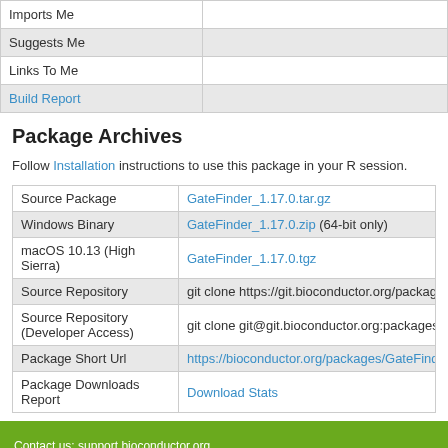|  |  |
| --- | --- |
| Imports Me |  |
| Suggests Me |  |
| Links To Me |  |
| Build Report |  |
Package Archives
Follow Installation instructions to use this package in your R session.
|  |  |
| --- | --- |
| Source Package | GateFinder_1.17.0.tar.gz |
| Windows Binary | GateFinder_1.17.0.zip (64-bit only) |
| macOS 10.13 (High Sierra) | GateFinder_1.17.0.tgz |
| Source Repository | git clone https://git.bioconductor.org/packages/... |
| Source Repository (Developer Access) | git clone git@git.bioconductor.org:packages/G... |
| Package Short Url | https://bioconductor.org/packages/GateFinder/... |
| Package Downloads Report | Download Stats |
Contact us: support.bioconductor.org
Copyright © 2003 - 2022, Bioconductor
Home | Install | Help
Install R | Workflows
Find Bioconductor Packages | Package Vignettes